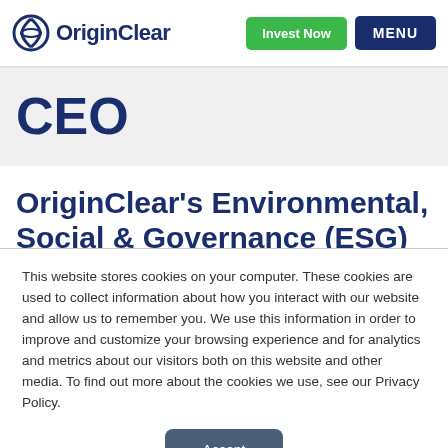OriginClear — Invest Now | MENU
CEO
OriginClear's Environmental, Social & Governance (ESG)
This website stores cookies on your computer. These cookies are used to collect information about how you interact with our website and allow us to remember you. We use this information in order to improve and customize your browsing experience and for analytics and metrics about our visitors both on this website and other media. To find out more about the cookies we use, see our Privacy Policy.
Accept